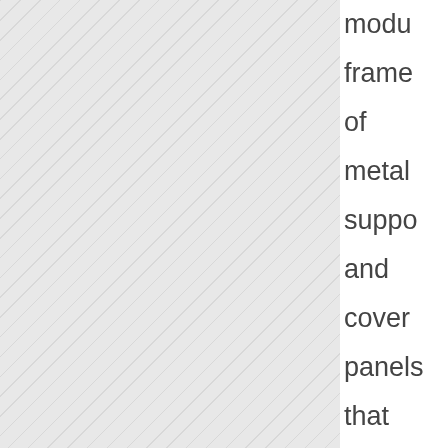[Figure (photo): A hatched/diagonal-lined pattern area representing a document image or photograph placeholder occupying the left portion of the page.]
modular frames of metal support and cover panels that can be scaled to the capacity needs of various locations. The Green EDGE Fund